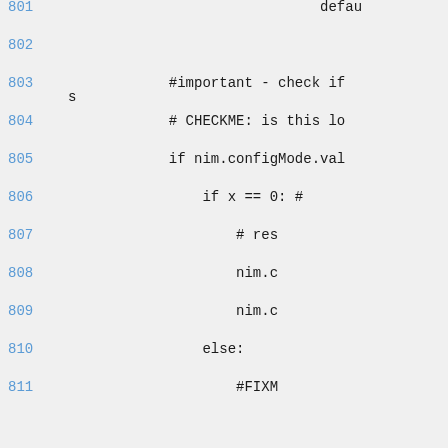Code listing showing lines 801-811 of a source file with Python-like code including comments and nim.configMode references